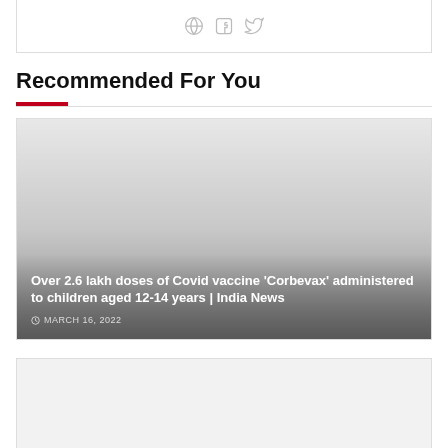[Figure (other): Social media sharing icons (globe, Facebook, Twitter) in gray]
Recommended For You
[Figure (photo): News article card with gradient gray background image. Title: Over 2.6 lakh doses of Covid vaccine 'Corbevax' administered to children aged 12-14 years | India News. Date: MARCH 16, 2022]
[Figure (photo): Partial news article card with light gray background, content cropped at bottom of page]